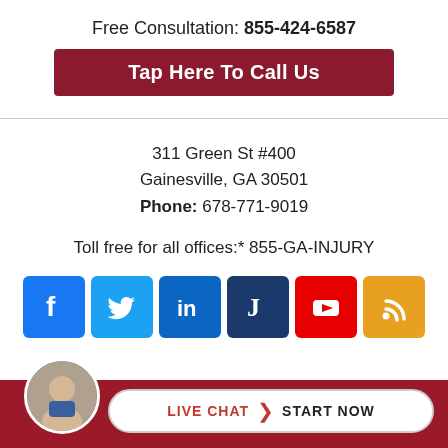Free Consultation: 855-424-6587
Tap Here To Call Us
311 Green St #400
Gainesville, GA 30501
Phone: 678-771-9019
Toll free for all offices:* 855-GA-INJURY
[Figure (infographic): Social media icons: Facebook (blue), Twitter (blue), LinkedIn (dark blue), Justia (dark navy with J), YouTube (red), RSS (orange)]
[Figure (infographic): Bottom bar with attorney avatar photo, Live Chat Start Now button on dark red background]